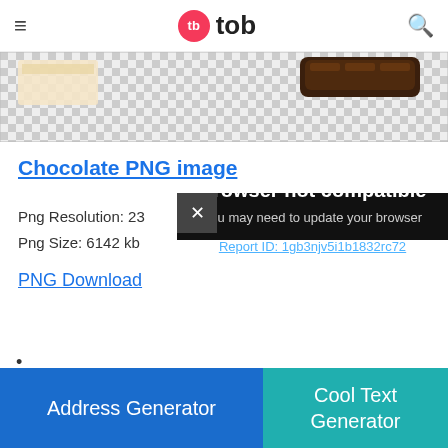tb tob
[Figure (photo): Chocolate items on transparent/checkered background — white chocolate piece on left, chocolate-covered bar on right]
Chocolate PNG image
Png Resolution: 23...
Png Size: 6142 kb
PNG Download
[Figure (screenshot): Browser not compatible modal overlay. Text: 'Browser not compatible. You may need to update your browser. Report ID: 1gb3njv5i1b1832rc72']
Powered by GliaStudio
•
Address Generator
Cool Text Generator